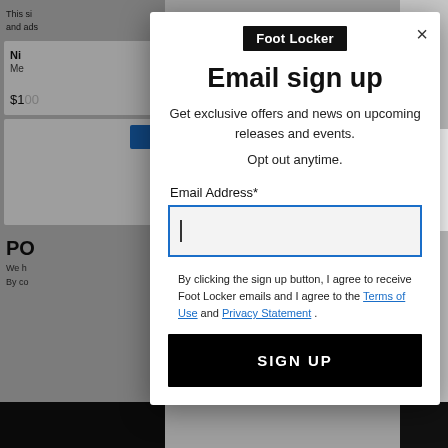[Figure (screenshot): Background website page (Foot Locker e-commerce) partially visible behind modal overlay]
[Figure (screenshot): Foot Locker email sign-up modal popup with logo, title, description, email input field, legal text, and sign up button]
Email sign up
Get exclusive offers and news on upcoming releases and events.
Opt out anytime.
Email Address*
By clicking the sign up button, I agree to receive Foot Locker emails and I agree to the Terms of Use and Privacy Statement .